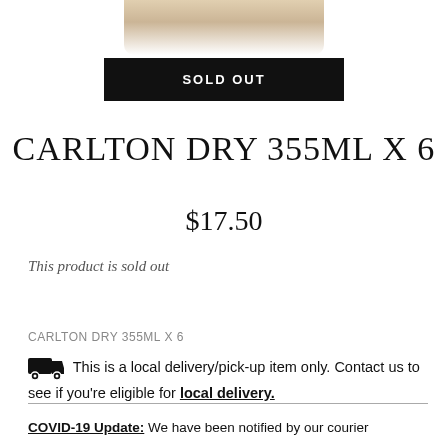[Figure (photo): Partial product image of Carlton Dry 355ml x 6 pack, cropped at top of page]
SOLD OUT
CARLTON DRY 355ML X 6
$17.50
This product is sold out
CARLTON DRY 355ML X 6
🚚 This is a local delivery/pick-up item only. Contact us to see if you're eligible for local delivery.
COVID-19 Update: We have been notified by our courier